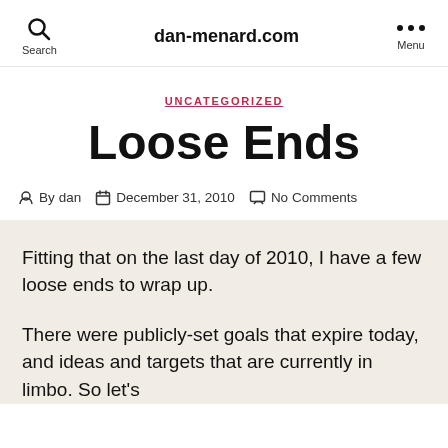dan-menard.com
UNCATEGORIZED
Loose Ends
By dan   December 31, 2010   No Comments
Fitting that on the last day of 2010, I have a few loose ends to wrap up.
There were publicly-set goals that expire today, and ideas and targets that are currently in limbo. So let's